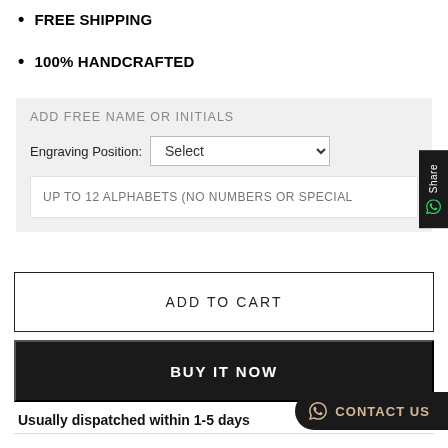FREE SHIPPING
100% HANDCRAFTED
ADD FREE NAME OR INITIALS
Engraving Position: Select
UP TO 12 ALPHABETS (NO NUMBERS OR SPECIAL
ADD TO CART
BUY IT NOW
Usually dispatched within 1-5 days
CONTACT US